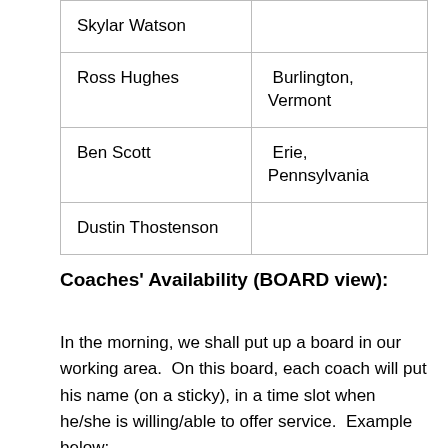| Name | Location |
| --- | --- |
| Skylar Watson |  |
| Ross Hughes | Burlington, Vermont |
| Ben Scott | Erie, Pennsylvania |
| Dustin Thostenson |  |
Coaches' Availability (BOARD view):
In the morning, we shall put up a board in our working area.  On this board, each coach will put his name (on a sticky), in a time slot when he/she is willing/able to offer service.  Example below: